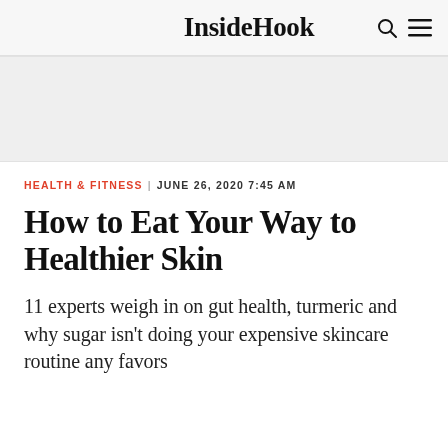InsideHook
[Figure (other): Advertisement placeholder block (gray rectangle)]
HEALTH & FITNESS | JUNE 26, 2020 7:45 AM
How to Eat Your Way to Healthier Skin
11 experts weigh in on gut health, turmeric and why sugar isn't doing your expensive skincare routine any favors